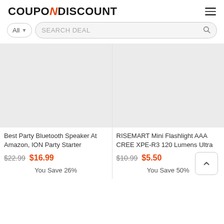[Figure (logo): CouponNDiscount logo — bold black text with orange N letter]
[Figure (screenshot): Hamburger menu icon (three horizontal lines)]
[Figure (screenshot): Search bar with 'All' dropdown and 'SEARCH DEAL' placeholder with search icon]
[Figure (photo): Product image placeholder (light grey) for Best Party Bluetooth Speaker]
Best Party Bluetooth Speaker At Amazon, ION Party Starter
$22.99  $16.99
You Save 26%
[Figure (photo): Product image placeholder (light grey) for RISEMART Mini Flashlight]
RISEMART Mini Flashlight AAA CREE XPE-R3 120 Lumens Ultra
$10.99  $5.50
You Save 50%